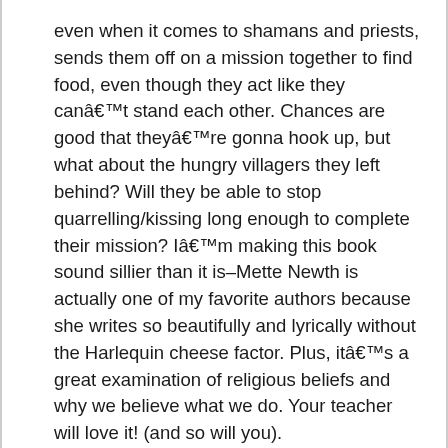even when it comes to shamans and priests, sends them off on a mission together to find food, even though they act like they canâ€™t stand each other. Chances are good that theyâ€™re gonna hook up, but what about the hungry villagers they left behind? Will they be able to stop quarrelling/kissing long enough to complete their mission? Iâ€™m making this book sound sillier than it is–Mette Newth is actually one of my favorite authors because she writes so beautifully and lyrically without the Harlequin cheese factor. Plus, itâ€™s a great examination of religious beliefs and why we believe what we do. Your teacher will love it! (and so will you).